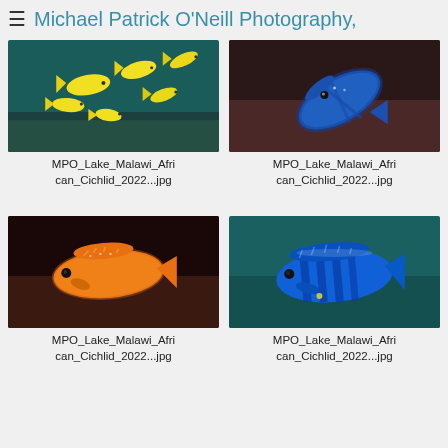≡  Michael Patrick O'Neill Photography,
[Figure (photo): School of yellow African cichlid fish swimming in teal water over rocky substrate, Lake Malawi]
MPO_Lake_Malawi_African_Cichlid_2022...jpg
[Figure (photo): Single blue African cichlid fish viewed from above on dark rocky substrate, Lake Malawi]
MPO_Lake_Malawi_African_Cichlid_2022...jpg
[Figure (photo): Single bright orange/yellow African cichlid fish on reddish rocky substrate, Lake Malawi]
MPO_Lake_Malawi_African_Cichlid_2022...jpg
[Figure (photo): Single vivid blue striped African cichlid fish in teal water, Lake Malawi]
MPO_Lake_Malawi_African_Cichlid_2022...jpg